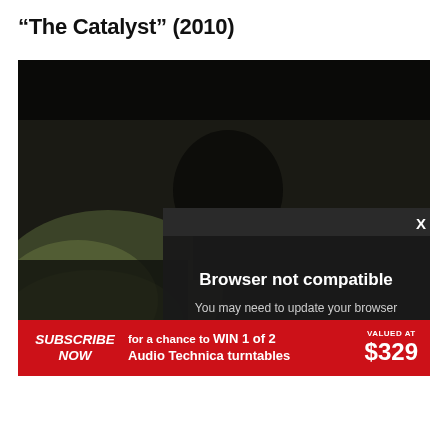“The Catalyst” (2010)
[Figure (screenshot): Video player showing a dark scene with a silhouetted figure, overlaid with a browser-not-compatible error dialog. The dialog has a dark background with white text reading 'Browser not compatible', 'You may need to update your browser', and a cyan underlined link 'Report ID: 1gbl3nasj6p4t1e3pl0'. An X close button appears in the top right corner of the overlay. Below the video player is a red advertisement banner reading 'SUBSCRIBE NOW for a chance to WIN 1 of 2 Audio Technica turntables VALUED AT $329'.]